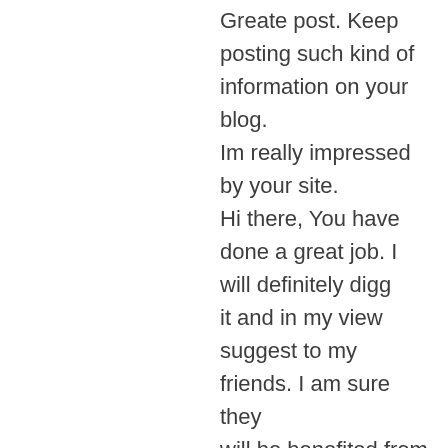Greate post. Keep posting such kind of information on your blog. Im really impressed by your site. Hi there, You have done a great job. I will definitely digg it and in my view suggest to my friends. I am sure they will be benefited from this web site.
tanhuala.com March 29, 2022 at 9:01 am
It's really a nice and helpful piece of info. I am satisfied that you shared this helpful info with us. Please stay us up to date like this. Thank you.